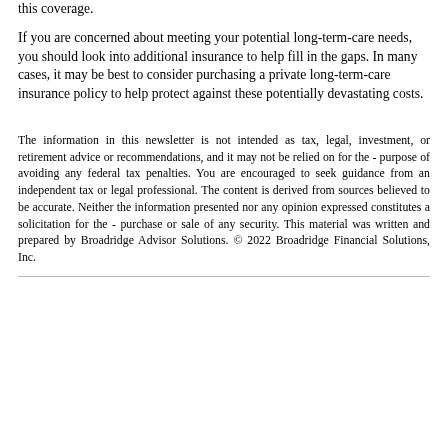this coverage.
If you are concerned about meeting your potential long-term-care needs, you should look into additional insurance to help fill in the gaps. In many cases, it may be best to consider purchasing a private long-term-care insurance policy to help protect against these potentially devastating costs.
The information in this newsletter is not intended as tax, legal, investment, or retirement advice or recommendations, and it may not be relied on for the purpose of avoiding any federal tax penalties. You are encouraged to seek guidance from an independent tax or legal professional. The content is derived from sources believed to be accurate. Neither the information presented nor any opinion expressed constitutes a solicitation for the purchase or sale of any security. This material was written and prepared by Broadridge Advisor Solutions. © 2022 Broadridge Financial Solutions, Inc.